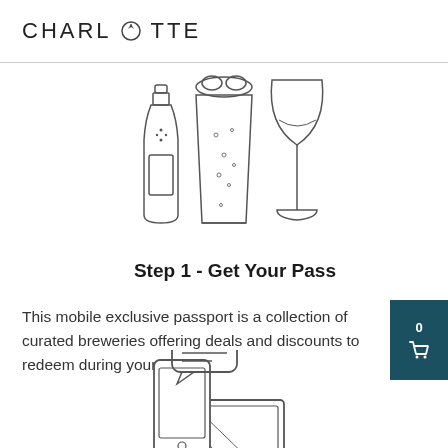CHARLOTTE
[Figure (illustration): Line drawing icons of a beer bottle, a pint glass with foam, and a wine glass]
Step 1 - Get Your Pass
This mobile exclusive passport is a collection of curated breweries offering deals and discounts to redeem during your visit.
[Figure (illustration): Line drawing icons of a smartphone with a chat bubble and a laptop computer]